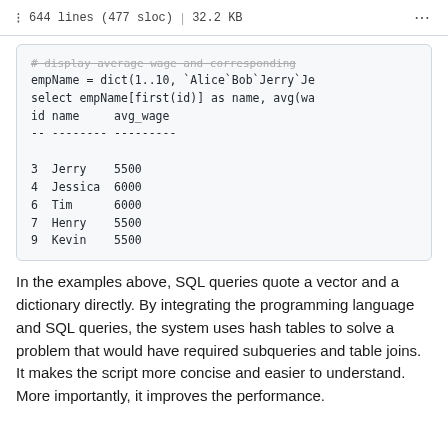644 lines (477 sloc) | 32.2 KB
[Figure (screenshot): Code block showing SQL query with empName dictionary and query results table listing id, name, avg_wage for Jerry(5500), Jessica(6000), Tim(6000), Henry(5500), Kevin(5500)]
In the examples above, SQL queries quote a vector and a dictionary directly. By integrating the programming language and SQL queries, the system uses hash tables to solve a problem that would have required subqueries and table joins. It makes the script more concise and easier to understand. More importantly, it improves the performance.